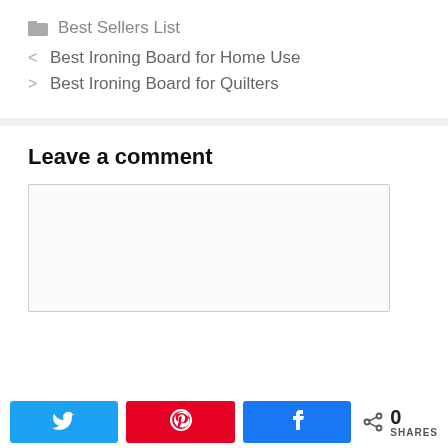Best Sellers List
< Best Ironing Board for Home Use
> Best Ironing Board for Quilters
Leave a comment
[Figure (other): Empty comment text area input box]
[Figure (other): Share bar with Twitter, Pinterest, Facebook buttons and 0 SHARES count]